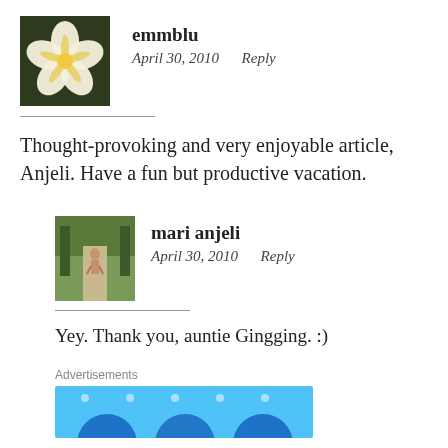[Figure (photo): Avatar image of a white and yellow flower (plumeria) against a dark background]
emmblu
April 30, 2010    Reply
Thought-provoking and very enjoyable article, Anjeli. Have a fun but productive vacation.
[Figure (photo): Avatar image of a person walking on a road surrounded by trees]
mari anjeli
April 30, 2010    Reply
Yey. Thank you, auntie Gingging. :)
Advertisements
[Figure (other): Blue advertisement banner with circular icons]